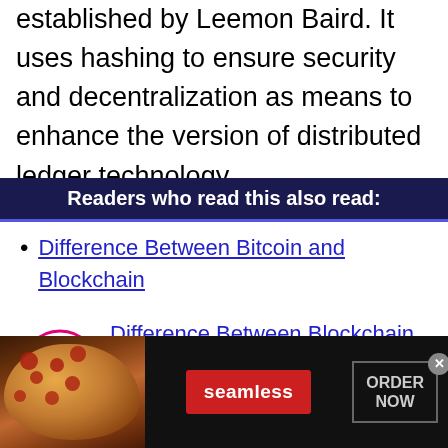established by Leemon Baird. It uses hashing to ensure security and decentralization as means to enhance the version of distributed ledger technology.
Readers who read this also read:
Difference Between Bitcoin and Blockchain
Difference Between Blockchain and Cryptocurrency
[Figure (other): Advertisement banner for Seamless food delivery service showing pizza image, Seamless logo in red button, and ORDER NOW button]